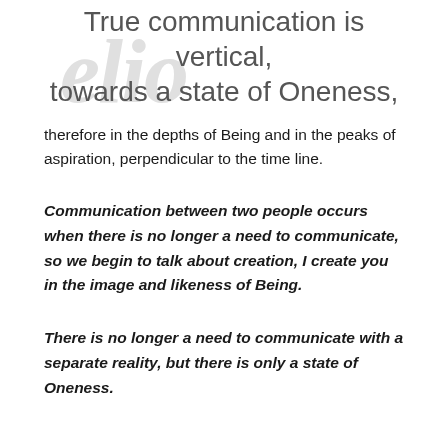True communication is vertical, towards a state of Oneness,
therefore in the depths of Being and in the peaks of aspiration, perpendicular to the time line.
Communication between two people occurs when there is no longer a need to communicate, so we begin to talk about creation, I create you in the image and likeness of Being.
There is no longer a need to communicate with a separate reality, but there is only a state of Oneness.